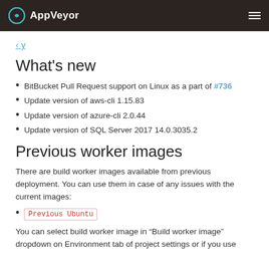AppVeyor
category / ...
What's new
BitBucket Pull Request support on Linux as a part of #736
Update version of aws-cli 1.15.83
Update version of azure-cli 2.0.44
Update version of SQL Server 2017 14.0.3035.2
Previous worker images
There are build worker images available from previous deployment. You can use them in case of any issues with the current images:
Previous Ubuntu
You can select build worker image in “Build worker image” dropdown on Environment tab of project settings or if you use